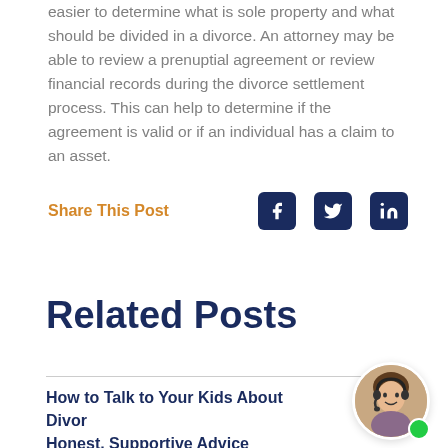easier to determine what is sole property and what should be divided in a divorce. An attorney may be able to review a prenuptial agreement or review financial records during the divorce settlement process. This can help to determine if the agreement is valid or if an individual has a claim to an asset.
Share This Post
[Figure (other): Social media share icons: Facebook, Twitter, LinkedIn]
Related Posts
How to Talk to Your Kids About Divorce: Honest, Supportive Advice
[Figure (photo): Headshot of a smiling woman with a headset, representing a customer service or legal support agent, with a green online status dot]